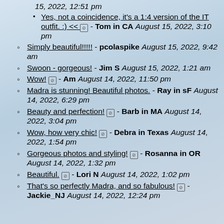15, 2022, 12:51 pm
Yes, not a coincidence, it's a 1:4 version of the IT outfit. :) << ⊘ - Tom in CA August 15, 2022, 3:10 pm
Simply beautiful!!!!! - pcolaspike August 15, 2022, 9:42 am
Swoon - gorgeous! - Jim S August 15, 2022, 1:21 am
Wow! ⊘ - Am August 14, 2022, 11:50 pm
Madra is stunning! Beautiful photos. - Ray in sF August 14, 2022, 6:29 pm
Beauty and perfection! ⊘ - Barb in MA August 14, 2022, 3:04 pm
Wow, how very chic! ⊘ - Debra in Texas August 14, 2022, 1:54 pm
Gorgeous photos and styling! ⊘ - Rosanna in OR August 14, 2022, 1:32 pm
Beautiful. ⊘ - Lori N August 14, 2022, 1:02 pm
That's so perfectly Madra, and so fabulous! ⊘ - Jackie_NJ August 14, 2022, 12:24 pm